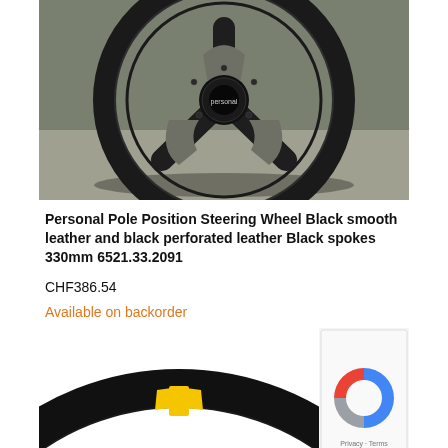[Figure (photo): Black Personal Pole Position steering wheel with three spokes and black center hub, photographed against a gray background]
Personal Pole Position Steering Wheel Black smooth leather and black perforated leather Black spokes 330mm 6521.33.2091
CHF386.54
Available on backorder
[Figure (photo): Partial view of a black steering wheel with a yellow stripe accent at the top, shown against a white background]